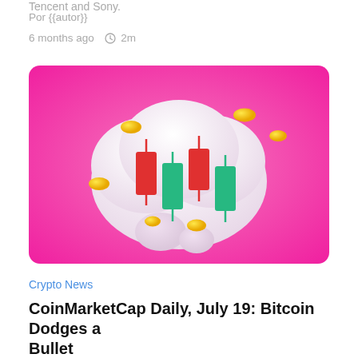Tencent and Sony.
Por {{autor}}
6 months ago  2m
[Figure (illustration): 3D illustration of candlestick chart with red and green candles on a white cloud-like bubble, floating gold coins, on a bright pink gradient background]
Crypto News
CoinMarketCap Daily, July 19: Bitcoin Dodges a Bullet